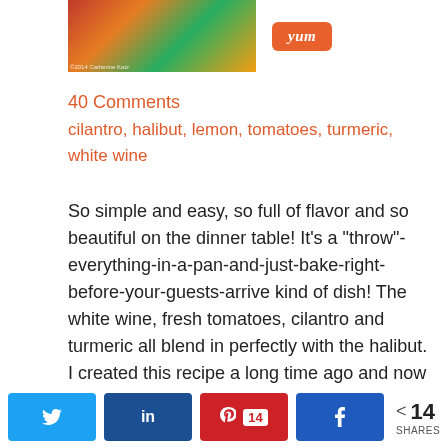[Figure (photo): Food photo showing colorful dish with tomatoes and vegetables]
40 Comments
cilantro, halibut, lemon, tomatoes, turmeric, white wine
So simple and easy, so full of flavor and so beautiful on the dinner table! It's a “throw”-everything-in-a-pan-and-just-bake-right-before-your-guests-arrive kind of dish! The white wine, fresh tomatoes, cilantro and turmeric all blend in perfectly with the halibut. I created this recipe a long time ago and now I prefer to make this dish with either Arctic char or Alaskan wild salmon, rather than the halibut because they are
Twitter share, LinkedIn share, Pinterest 14, Facebook share, 14 SHARES